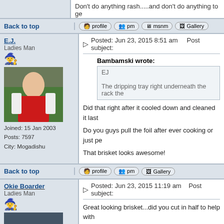Don't do anything rash.....and don't do anything to ge
Back to top
E.J.
Ladies Man
Joined: 15 Jan 2003
Posts: 7597
City: Mogadishu
Posted: Jun 23, 2015 8:51 am    Post subject:
Bambamski wrote:
EJ

The dripping tray right underneath the rack the
Did that right after it cooled down and cleaned it last
Do you guys pull the foil after ever cooking or just pe
That brisket looks awesome!
Back to top
Okie Boarder
Ladies Man
Posted: Jun 23, 2015 11:19 am    Post subject:
Great looking brisket...did you cut in half to help with
If love is blind, why is lingerie so popular?